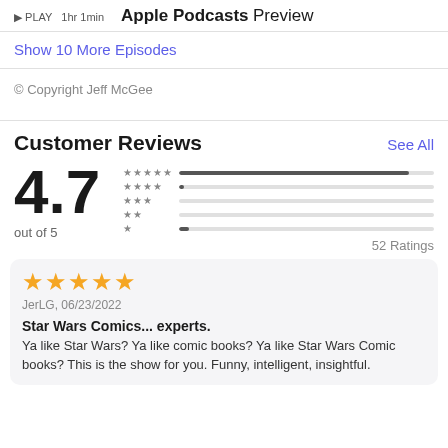Apple Podcasts Preview
Show 10 More Episodes
© Copyright Jeff McGee
Customer Reviews
4.7 out of 5 — 52 Ratings
★★★★★ JerLG, 06/23/2022
Star Wars Comics... experts. Ya like Star Wars? Ya like comic books? Ya like Star Wars Comic books? This is the show for you. Funny, intelligent, insightful.